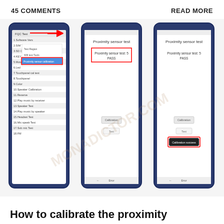45 COMMENTS     READ MORE
[Figure (screenshot): Three smartphone screenshots showing proximity sensor calibration steps on a mobile device. First phone shows a menu list with 'FQC Test' and 'Proximity sensor calibration' highlighted with a red box and a red arrow pointing right. Second phone shows 'Proximity sensor test' screen with 'Proximity sensor test: 5 PASS' in a red box, and buttons for Calibration and Test. Third phone shows the same 'Proximity sensor test' screen with 'Proximity sensor test: 5 PASS' text visible and a red-boxed 'Calibration success' button at the bottom.]
How to calibrate the proximity